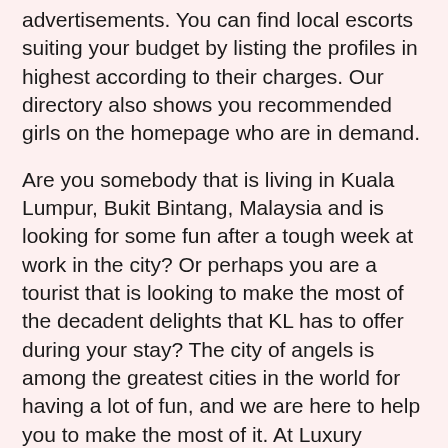advertisements. You can find local escorts suiting your budget by listing the profiles in highest according to their charges. Our directory also shows you recommended girls on the homepage who are in demand.
Are you somebody that is living in Kuala Lumpur, Bukit Bintang, Malaysia and is looking for some fun after a tough week at work in the city? Or perhaps you are a tourist that is looking to make the most of the decadent delights that KL has to offer during your stay? The city of angels is among the greatest cities in the world for having a lot of fun, and we are here to help you to make the most of it. At Luxury Agency Kuala Lumpur , we are here to help you have a truly memorable weekend, or a holiday quite unlike any you've ever had before.
The Malay escorts scene attracts people to the city from all over the world, and our agency helps to make sure that you get to experience the very best that is on offer. So please if you want to discover all that our...